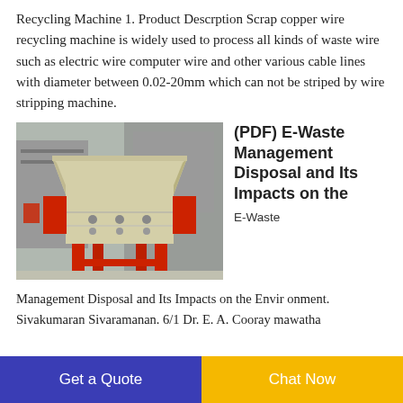Recycling Machine 1. Product Descrption Scrap copper wire recycling machine is widely used to process all kinds of waste wire such as electric wire computer wire and other various cable lines with diameter between 0.02-20mm which can not be striped by wire stripping machine.
[Figure (photo): Photo of a red and beige industrial scrap copper wire recycling machine with large hopper on top, red side bins, and red metal frame legs, set outdoors.]
(PDF) E-Waste Management Disposal and Its Impacts on the
E-Waste
Management Disposal and Its Impacts on the Envir onment. Sivakumaran Sivaramanan. 6/1 Dr. E. A. Cooray mawatha
Get a Quote
Chat Now